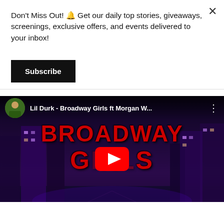Don't Miss Out! 🔔 Get our daily top stories, giveaways, screenings, exclusive offers, and events delivered to your inbox!
Subscribe
[Figure (screenshot): YouTube video thumbnail for 'Lil Durk - Broadway Girls ft Morgan W...' showing a dark purple-toned city street background with 'BROADWAY GIRLS' text in large red letters, a YouTube play button in the center, and the channel avatar (person in green jacket) in the top-left corner.]